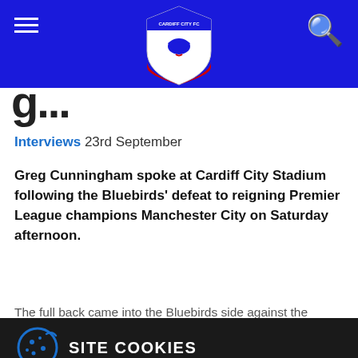Cardiff City FC navigation bar with hamburger menu, Cardiff City FC logo/shield, and search icon
g... (partial title, cropped)
Interviews 23rd September
Greg Cunningham spoke at Cardiff City Stadium following the Bluebirds' defeat to reigning Premier League champions Manchester City on Saturday afternoon.
The full back came into the Bluebirds side against the...
SITE COOKIES
By clicking "Accept all cookies", you agree to the storing of cookies on your device to enhance site navigation, analyse site usage, and assist in our marketing efforts. Our Cookie Policy shows you what we collect.
You can tailor your site experience by clicking "Set cookies" from our...